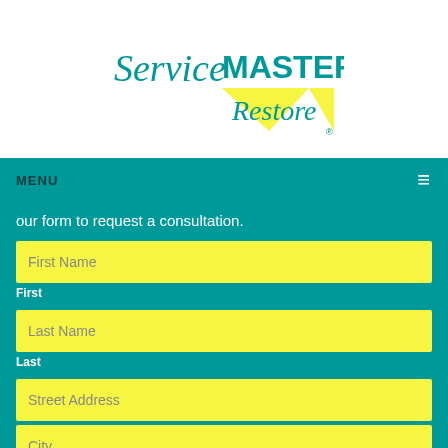[Figure (logo): ServiceMASTER Restore logo with teal text and yellow arrow/triangle]
MENU ≡
our form to request a consultation.
First Name
First
Last Name
Last
Street Address
City
Zipcode